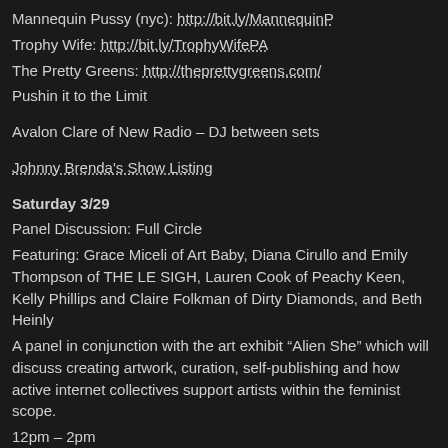Mannequin Pussy (nyc): http://bit.ly/MannequinP
Trophy Wife: http://bit.ly/TrophyWifePA
The Pretty Greens: http://theprettygreens.com/
Pushin it to the Limit
Avalon Clare of New Radio – DJ between sets
Johnny Brenda's Show Listing
Saturday 3/29
Panel Discussion: Full Circle
Featuring: Grace Miceli of Art Baby, Diana Cirullo and Emily Thompson of THE LE SIGH, Lauren Cook of Peachy Keen, Kelly Phillips and Claire Folkman of Dirty Diamonds, and Beth Heinly
A panel in conjunction with the art exhibit “Alien She” which will discuss creating artwork, curation, self-publishing and how active internet collectives support artists within the feminist scope.
12pm – 2pm
Philadelphia Photo Arts Center